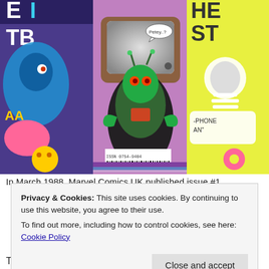[Figure (photo): Comic book covers showing colorful monster/ghost characters. Center cover features a green alien-like creature emerging from a vintage TV screen with speech bubble saying 'Petey..?' A barcode with ISSN 0754-9404 is visible at the bottom left.]
In March 1988, Marvel Comics UK published issue #1...
Privacy & Cookies: This site uses cookies. By continuing to use this website, you agree to their use.
To find out more, including how to control cookies, see here: Cookie Policy
That first issue was a hit with readers and the comic